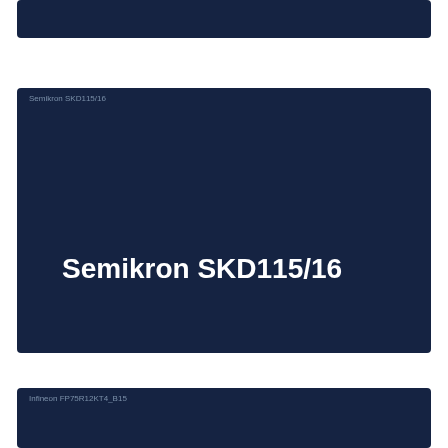[Figure (other): Dark navy blue card/placeholder block at top of page]
[Figure (other): Dark navy blue product card for Semikron SKD115/16 with bold white product name text and small alt-text label in top-left corner]
[Figure (other): Dark navy blue card/placeholder block at bottom of page for Infineon FP75R12KT4_B15 with small alt-text label in top-left corner]